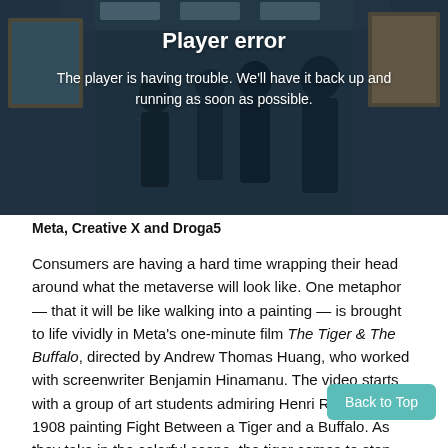[Figure (screenshot): Video player error screen showing a dark gallery scene with silhouettes of people viewing paintings. White text reads 'Player error' and 'The player is having trouble. We'll have it back up and running as soon as possible.']
Meta, Creative X and Droga5
Consumers are having a hard time wrapping their head around what the metaverse will look like. One metaphor — that it will be like walking into a painting — is brought to life vividly in Meta's one-minute film The Tiger & The Buffalo, directed by Andrew Thomas Huang, who worked with screenwriter Benjamin Hinamanu. The video starts with a group of art students admiring Henri Rousseau's 1908 painting Fight Between a Tiger and a Buffalo. As they take in the colorful scene, the tiger comes to step into a fantastic CGI jungle, with toucans and moving to the rhythm of a rave soundtrack. The video offers a